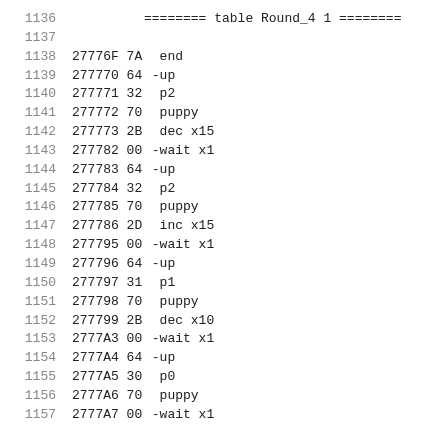1136    ======== table Round_4 1 ========
1137
1138    27776F 7A     end
1139    277770 64     -up
1140    277771 32     p2
1141    277772 70     puppy
1142    277773 2B     dec x15
1143    277782 00     -wait x1
1144    277783 64     -up
1145    277784 32     p2
1146    277785 70     puppy
1147    277786 2D     inc x15
1148    277795 00     -wait x1
1149    277796 64     -up
1150    277797 31     p1
1151    277798 70     puppy
1152    277799 2B     dec x10
1153    2777A3 00     -wait x1
1154    2777A4 64     -up
1155    2777A5 30     p0
1156    2777A6 70     puppy
1157    2777A7 00     -wait x1